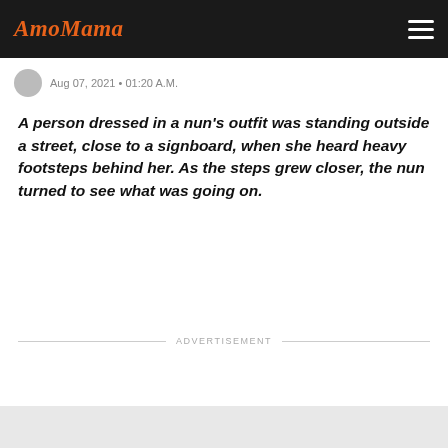AmoMama
Aug 07, 2021 • 01:20 A.M.
A person dressed in a nun's outfit was standing outside a street, close to a signboard, when she heard heavy footsteps behind her. As the steps grew closer, the nun turned to see what was going on.
ADVERTISEMENT